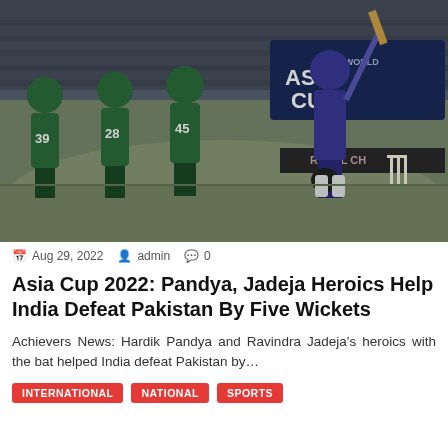[Figure (photo): Cricket match scene: Pakistan players in green jerseys (numbers 39, 28, 45) standing on field, Indian batsman in blue raising bat in celebration, Asia Cup 2022 advertisement board visible in background (DP World Asia Cup branding)]
Aug 29, 2022  admin  0
Asia Cup 2022: Pandya, Jadeja Heroics Help India Defeat Pakistan By Five Wickets
Achievers News: Hardik Pandya and Ravindra Jadeja's heroics with the bat helped India defeat Pakistan by…
INTERNATIONAL
NATIONAL
SPORTS